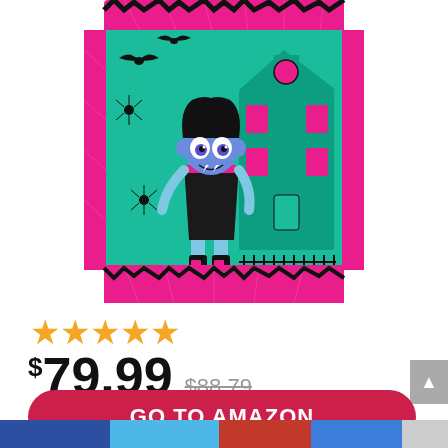[Figure (photo): Product photo of a Vampirina themed children's comforter/blanket. The blanket features a teal/turquoise background with Vampirina character (blue-skinned girl vampire in black dress) standing in front of a spooky haunted mansion, with pink/hot-pink borders featuring spider web patterns, bats, and spiders.]
★★★★★
$79.99  $88.79
GO TO AMAZON